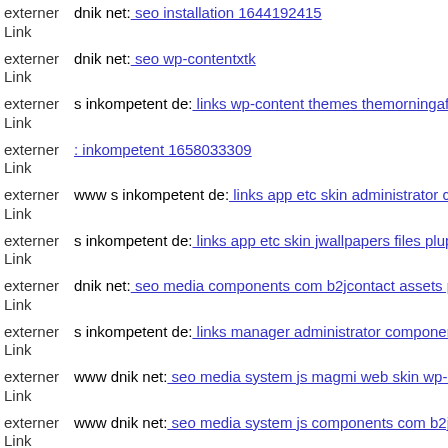externer Link dnik net: seo installation 1644192415
externer Link dnik net: seo wp-contentxtk
externer Link s inkompetent de: links wp-content themes themorningafter
externer Link : inkompetent 1658033309
externer Link www s inkompetent de: links app etc skin administrator com
externer Link s inkompetent de: links app etc skin jwallpapers files pluplo
externer Link dnik net: seo media components com b2jcontact assets phpt
externer Link s inkompetent de: links manager administrator components
externer Link www dnik net: seo media system js magmi web skin wp-ine
externer Link www dnik net: seo media system js components com b2jcos
externer Link www dnik net: seo media system js magmi web wp-content